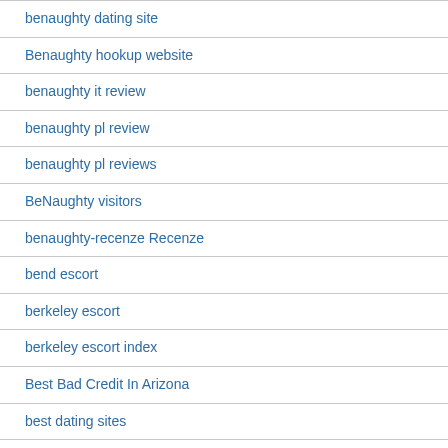benaughty dating site
Benaughty hookup website
benaughty it review
benaughty pl review
benaughty pl reviews
BeNaughty visitors
benaughty-recenze Recenze
bend escort
berkeley escort
berkeley escort index
Best Bad Credit In Arizona
best dating sites
Best Hookup Apps dating
best hookup apps hookuphotties review
Best Hookup Apps review